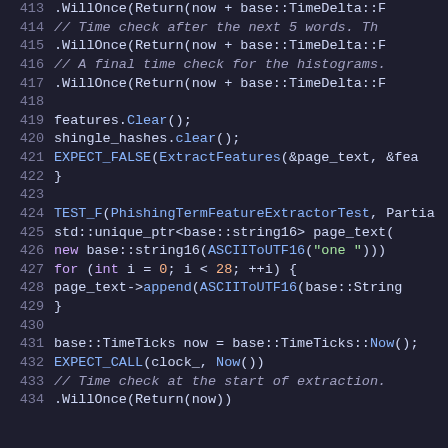[Figure (screenshot): Source code editor showing C++ test code with syntax highlighting. Lines 413-434 visible. Dark background IDE theme with line numbers on left. Code involves PhishingTermFeatureExtractor test with TimeTicks, EXPECT calls, and string operations.]